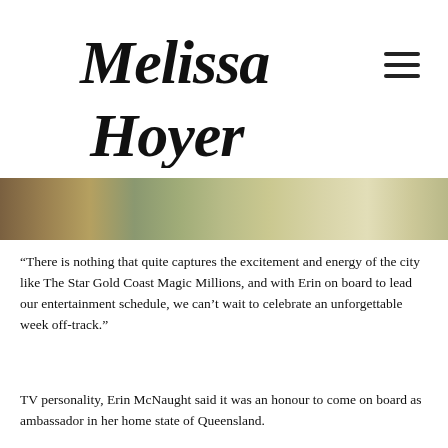Melissa Hoyer
[Figure (photo): Partial photo strip showing outdoor scene with green background and floral pattern clothing]
“There is nothing that quite captures the excitement and energy of the city like The Star Gold Coast Magic Millions, and with Erin on board to lead our entertainment schedule, we can’t wait to celebrate an unforgettable week off-track.”
TV personality, Erin McNaught said it was an honour to come on board as ambassador in her home state of Queensland.